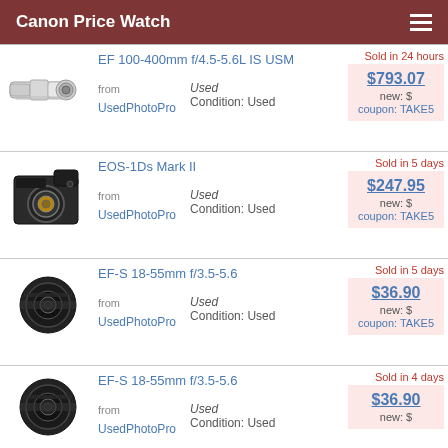Canon Price Watch
[Figure (photo): Canon EF 100-400mm f/4.5-5.6L IS USM telephoto zoom lens, white, with tripod collar]
EF 100-400mm f/4.5-5.6L IS USM
Sold in 24 hours
from UsedPhotoPro   Used Condition: Used
$793.07
new: $
coupon: TAKE5
[Figure (photo): Canon EOS-1Ds Mark II black DSLR camera body]
EOS-1Ds Mark II
Sold in 5 days
from UsedPhotoPro   Used Condition: Used
$247.95
new: $
coupon: TAKE5
[Figure (photo): Canon EF-S 18-55mm f/3.5-5.6 black zoom lens]
EF-S 18-55mm f/3.5-5.6
Sold in 5 days
from UsedPhotoPro   Used Condition: Used
$36.90
new: $
coupon: TAKE5
[Figure (photo): Canon EF-S 18-55mm f/3.5-5.6 black zoom lens]
EF-S 18-55mm f/3.5-5.6
Sold in 4 days
from UsedPhotoPro   Used Condition: Used
$36.90
new: $